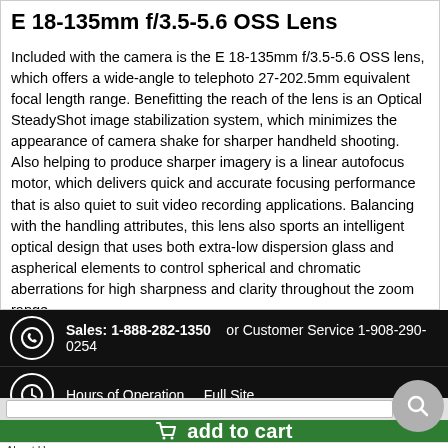E 18-135mm f/3.5-5.6 OSS Lens
Included with the camera is the E 18-135mm f/3.5-5.6 OSS lens, which offers a wide-angle to telephoto 27-202.5mm equivalent focal length range. Benefitting the reach of the lens is an Optical SteadyShot image stabilization system, which minimizes the appearance of camera shake for sharper handheld shooting. Also helping to produce sharper imagery is a linear autofocus motor, which delivers quick and accurate focusing performance that is also quiet to suit video recording applications. Balancing with the handling attributes, this lens also sports an intelligent optical design that uses both extra-low dispersion glass and aspherical elements to control spherical and chromatic aberrations for high sharpness and clarity throughout the zoom range.
[Figure (other): Barcode (UPC barcode image)]
UPC: 027242919013
Sales: 1-888-282-1350  or Customer Service 1-908-290-0254  |  Hours of Operation  |  Full Site
add to cart
About Us